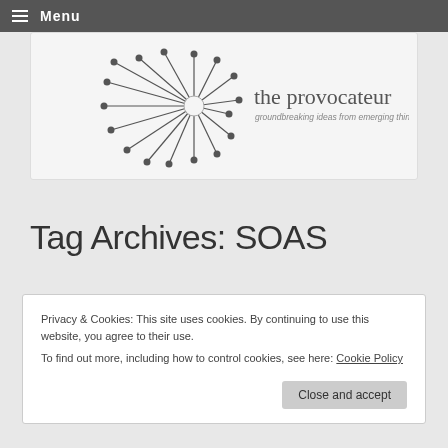Menu
[Figure (logo): The Provocateur logo — a dandelion-like starburst graphic with lines and dots, beside the text 'the provocateur' and subtitle 'groundbreaking ideas from emerging thinkers']
Tag Archives: SOAS
Privacy & Cookies: This site uses cookies. By continuing to use this website, you agree to their use.
To find out more, including how to control cookies, see here: Cookie Policy
Close and accept